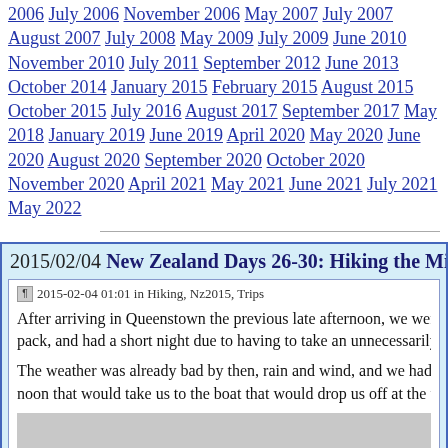2006 July 2006 November 2006 May 2007 July 2007 August 2007 July 2008 May 2009 July 2009 June 2010 November 2010 July 2011 September 2012 June 2013 October 2014 January 2015 February 2015 August 2015 October 2015 July 2016 August 2017 September 2017 May 2018 January 2019 June 2019 April 2020 May 2020 June 2020 August 2020 September 2020 October 2020 November 2020 April 2021 May 2021 June 2021 July 2021 May 2022
2015/02/04 New Zealand Days 26-30: Hiking the Milf...
2015-02-04 01:01 in Hiking, Nz2015, Trips
After arriving in Queenstown the previous late afternoon, we went... pack, and had a short night due to having to take an unnecessarily e...
The weather was already bad by then, rain and wind, and we had to... noon that would take us to the boat that would drop us off at the tra...
[Figure (photo): Gray placeholder image area]